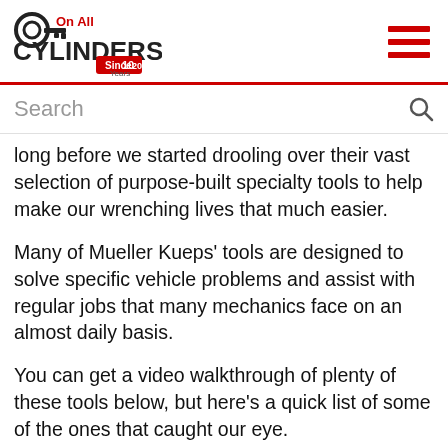On All Cylinders — navigation header with logo and hamburger menu
Search
long before we started drooling over their vast selection of purpose-built specialty tools to help make our wrenching lives that much easier.
Many of Mueller Kueps' tools are designed to solve specific vehicle problems and assist with regular jobs that many mechanics face on an almost daily basis.
You can get a video walkthrough of plenty of these tools below, but here's a quick list of some of the ones that caught our eye.